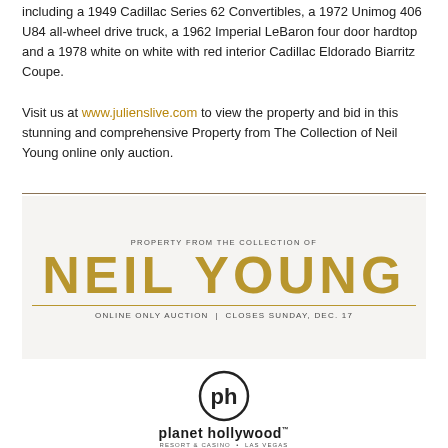including a 1949 Cadillac Series 62 Convertibles, a 1972 Unimog 406 U84 all-wheel drive truck, a 1962 Imperial LeBaron four door hardtop and a 1978 white on white with red interior Cadillac Eldorado Biarritz Coupe.
Visit us at www.julienslive.com to view the property and bid in this stunning and comprehensive Property from The Collection of Neil Young online only auction.
[Figure (illustration): Promotional banner for 'Property from the Collection of Neil Young - Online Only Auction | Closes Sunday, Dec. 17' in gold and dark text on light background]
[Figure (logo): Planet Hollywood Resort & Casino Las Vegas logo with circular 'ph' monogram]